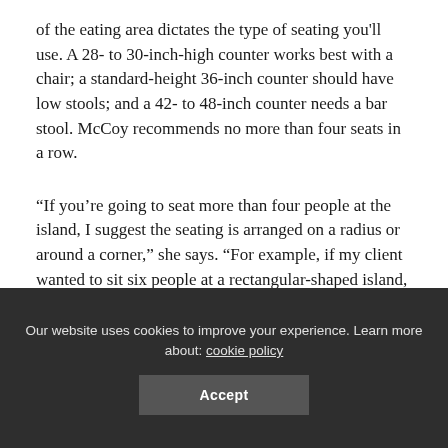of the eating area dictates the type of seating you'll use. A 28- to 30-inch-high counter works best with a chair; a standard-height 36-inch counter should have low stools; and a 42- to 48-inch counter needs a bar stool. McCoy recommends no more than four seats in a row.
“If you’re going to seat more than four people at the island, I suggest the seating is arranged on a radius or around a corner,” she says. “For example, if my client wanted to sit six people at a rectangular-shaped island, I would seat four on one side and two on the other side.”
It’s these types of decisions that really require the input and expertise of a kitchen designer. Their experience goes a long way in
Our website uses cookies to improve your experience. Learn more about: cookie policy
Accept